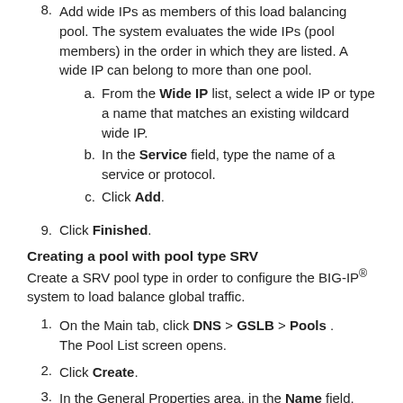8. Add wide IPs as members of this load balancing pool. The system evaluates the wide IPs (pool members) in the order in which they are listed. A wide IP can belong to more than one pool.
  a. From the Wide IP list, select a wide IP or type a name that matches an existing wildcard wide IP.
  b. In the Service field, type the name of a service or protocol.
  c. Click Add.
9. Click Finished.
Creating a pool with pool type SRV
Create a SRV pool type in order to configure the BIG-IP® system to load balance global traffic.
1. On the Main tab, click DNS > GSLB > Pools . The Pool List screen opens.
2. Click Create.
3. In the General Properties area, in the Name field, type a name for the pool.